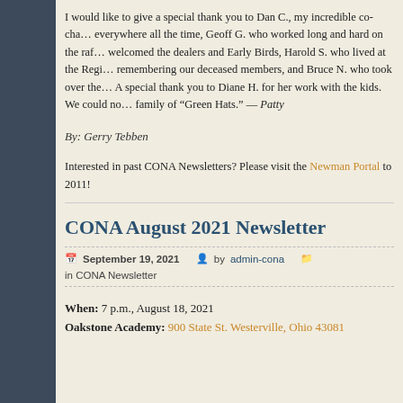I would like to give a special thank you to Dan C., my incredible co-cha... everywhere all the time, Geoff G. who worked long and hard on the raf... welcomed the dealers and Early Birds, Harold S. who lived at the Regi... remembering our deceased members, and Bruce N. who took over the... A special thank you to Diane H. for her work with the kids. We could no... family of "Green Hats." — Patty
By: Gerry Tebben
Interested in past CONA Newsletters? Please visit the Newman Portal to 2011!
CONA August 2021 Newsletter
September 19, 2021  by admin-cona  in CONA Newsletter
When: 7 p.m., August 18, 2021
Oakstone Academy: 900 State St. Westerville, Ohio 43081